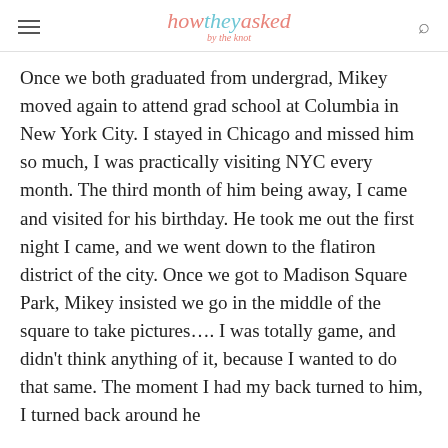how they asked by the knot
Once we both graduated from undergrad, Mikey moved again to attend grad school at Columbia in New York City. I stayed in Chicago and missed him so much, I was practically visiting NYC every month. The third month of him being away, I came and visited for his birthday. He took me out the first night I came, and we went down to the flatiron district of the city. Once we got to Madison Square Park, Mikey insisted we go in the middle of the square to take pictures.... I was totally game, and didn't think anything of it, because I wanted to do that same. The moment I had my back turned to him, I turned back around he